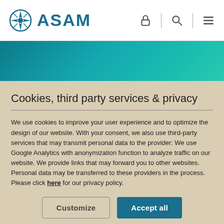ASAM
[Figure (logo): ASAM logo with compass-style icon and bold teal text]
ASAM OpenDRIVE®
Cookies, third party services & privacy
We use cookies to improve your user experience and to optimize the design of our website. With your consent, we also use third-party services that may transmit personal data to the provider: We use Google Analytics with anonymization function to analyze traffic on our website. We provide links that may forward you to other websites. Personal data may be transferred to these providers in the process. Please click here for our privacy policy.